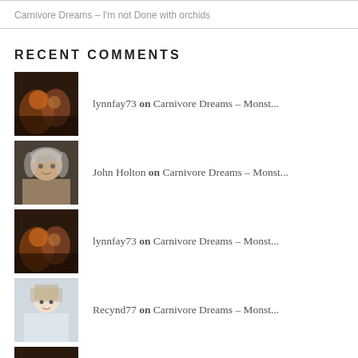Carnivore Dreams – I'm not Done with orchids
RECENT COMMENTS
lynnfay73 on Carnivore Dreams – Monst...
John Holton on Carnivore Dreams – Monst...
lynnfay73 on Carnivore Dreams – Monst...
Recynd77 on Carnivore Dreams – Monst...
lynnfay73 on Carnivore Dreams – About...